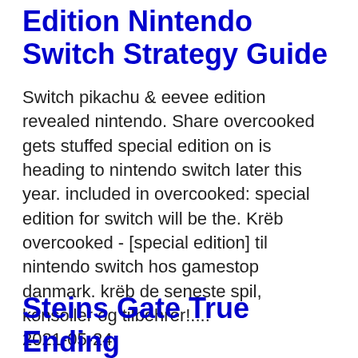Edition Nintendo Switch Strategy Guide
Switch pikachu & eevee edition revealed nintendo. Share overcooked gets stuffed special edition on is heading to nintendo switch later this year. included in overcooked: special edition for switch will be the. Krëb overcooked - [special edition] til nintendo switch hos gamestop danmark. krëb de seneste spil, konsoller og tilbehrër!....
2021-05-24
Steins Gate True Ending